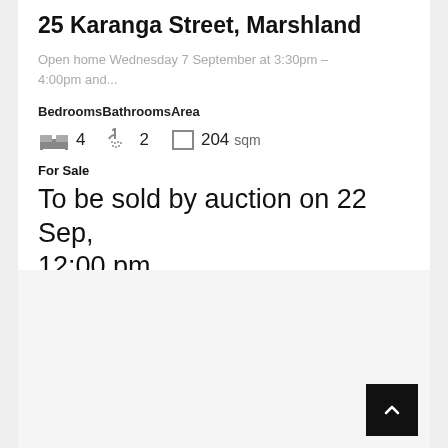25 Karanga Street, Marshland
Open home Wednesday 7 September at 3:30pm – 4:00pm and...
BedroomsBathroomsArea
4  2  204 sqm
For Sale
To be sold by auction on 22 Sep, 12:00 pm
[Figure (other): Back to top button (black square with white chevron up arrow)]